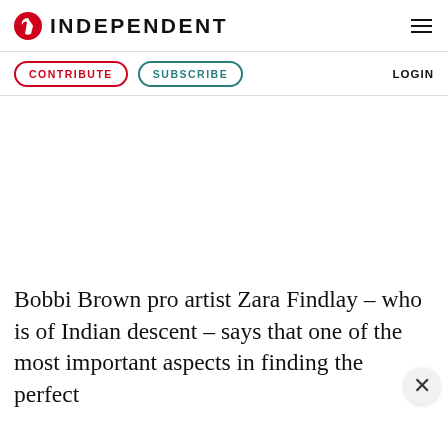INDEPENDENT
Contribute  Subscribe  LOGIN
Bobbi Brown pro artist Zara Findlay – who is of Indian descent – says that one of the most important aspects in finding the perfect